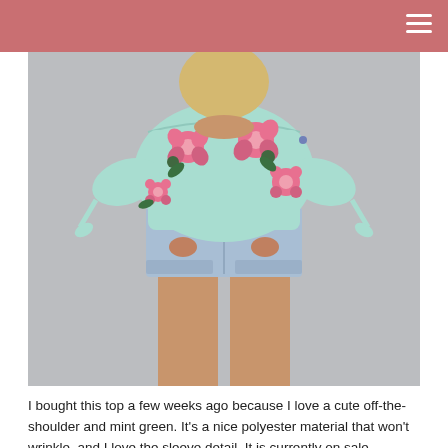[Figure (photo): A young woman wearing a mint green off-the-shoulder floral top with tie sleeves and light wash denim shorts, photographed against a gray background.]
I bought this top a few weeks ago because I love a cute off-the-shoulder and mint green. It's a nice polyester material that won't wrinkle, and I love the sleeve detail. It is currently on sale...